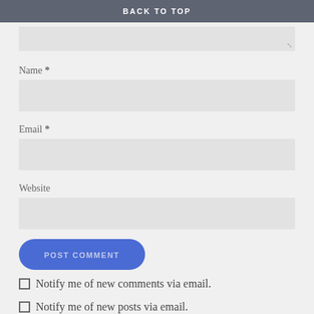BACK TO TOP
Name *
Email *
Website
POST COMMENT
Notify me of new comments via email.
Notify me of new posts via email.